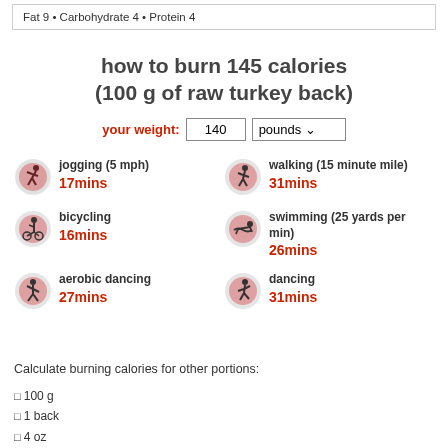Fat 9 • Carbohydrate 4 • Protein 4
how to burn 145 calories (100 g of raw turkey back)
your weight: 140 pounds
[Figure (infographic): Six exercise activity icons with labels and times: jogging (5 mph) 17mins, walking (15 minute mile) 31mins, bicycling 16mins, swimming (25 yards per min) 26mins, aerobic dancing 27mins, dancing 31mins]
Calculate burning calories for other portions:
100 g
1 back
4 oz